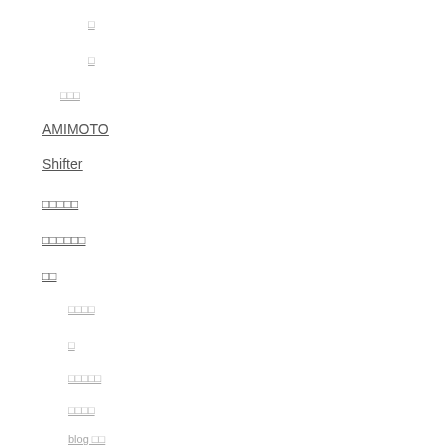□
□
□□□
AMIMOTO
Shifter
□□□□□
□□□□□□
□□
□□□□
□
□□□□□
□□□□
blog □□
□□□□□□□
□□□□□
□□□□
□□□□
□□□□